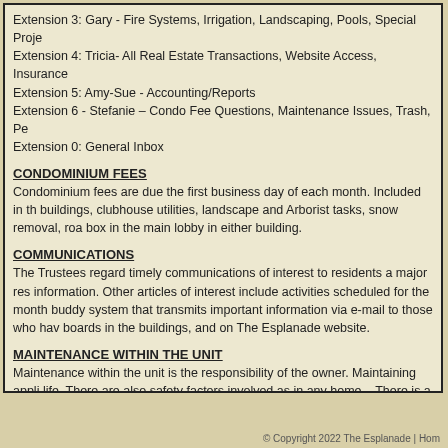Extension 3: Gary - Fire Systems, Irrigation, Landscaping, Pools, Special Projects
Extension 4: Tricia- All Real Estate Transactions, Website Access, Insurance
Extension 5: Amy-Sue - Accounting/Reports
Extension 6 - Stefanie – Condo Fee Questions, Maintenance Issues, Trash, Pe…
Extension 0: General Inbox
CONDOMINIUM FEES
Condominium fees are due the first business day of each month. Included in the buildings, clubhouse utilities, landscape and Arborist tasks, snow removal, road box in the main lobby in either building.
COMMUNICATIONS
The Trustees regard timely communications of interest to residents a major res information. Other articles of interest include activities scheduled for the month buddy system that transmits important information via e-mail to those who hav boards in the buildings, and on The Esplanade website.
MAINTENANCE WITHIN THE UNIT
Maintenance within the unit is the responsibility of the owner. Maintaining appli life. There are also safety factors involved as in any home.   There is a detailed required maintenance activities within your unit.
AMENITIES
The Esplanade includes several features including an Exercise Room, a Funct
© Copyright 2022 The Esplanade | Hom